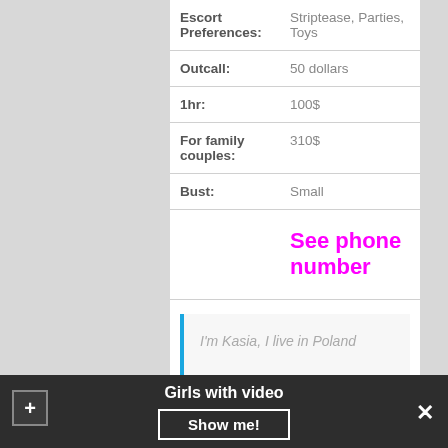| Field | Value |
| --- | --- |
| Escort Preferences: | Striptease, Parties, Toys |
| Outcall: | 50 dollars |
| 1hr: | 100$ |
| For family couples: | 310$ |
| Bust: | Small |
|  | See phone number |
I'm Kasia, I live in Poland
Margo
Girls with video
Show me!